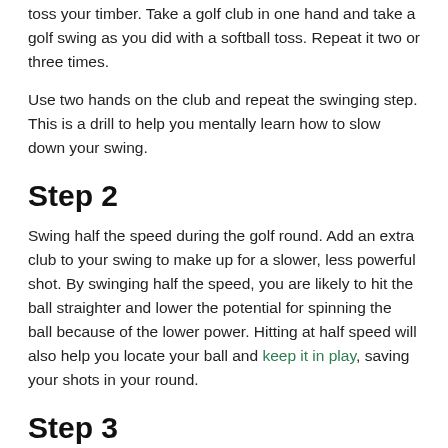toss your timber. Take a golf club in one hand and take a golf swing as you did with a softball toss. Repeat it two or three times.
Use two hands on the club and repeat the swinging step. This is a drill to help you mentally learn how to slow down your swing.
Step 2
Swing half the speed during the golf round. Add an extra club to your swing to make up for a slower, less powerful shot. By swinging half the speed, you are likely to hit the ball straighter and lower the potential for spinning the ball because of the lower power. Hitting at half speed will also help you locate your ball and keep it in play, saving your shots in your round.
Step 3